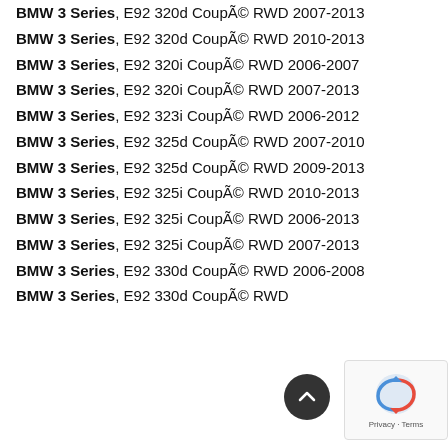BMW 3 Series, E92 320d Coupé RWD 2007-2013
BMW 3 Series, E92 320d Coupé RWD 2010-2013
BMW 3 Series, E92 320i Coupé RWD 2006-2007
BMW 3 Series, E92 320i Coupé RWD 2007-2013
BMW 3 Series, E92 323i Coupé RWD 2006-2012
BMW 3 Series, E92 325d Coupé RWD 2007-2010
BMW 3 Series, E92 325d Coupé RWD 2009-2013
BMW 3 Series, E92 325i Coupé RWD 2010-2013
BMW 3 Series, E92 325i Coupé RWD 2006-2013
BMW 3 Series, E92 325i Coupé RWD 2007-2013
BMW 3 Series, E92 330d Coupé RWD 2006-2008
BMW 3 Series, E92 330d Coupé RWD